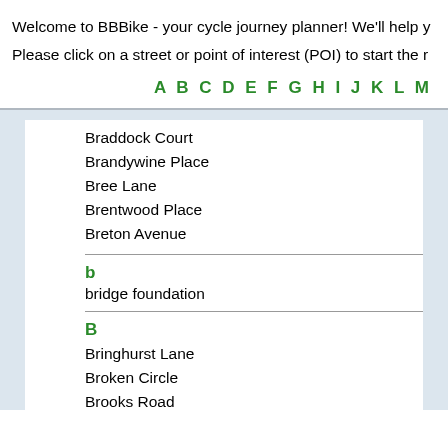Welcome to BBBike - your cycle journey planner! We'll help y
Please click on a street or point of interest (POI) to start the r
A B C D E F G H I J K L M
Braddock Court
Brandywine Place
Bree Lane
Brentwood Place
Breton Avenue
b
bridge foundation
B
Bringhurst Lane
Broken Circle
Brooks Road
Brown Drive
Brush Creek Apartments
Bryant Place
Bryce Lane
Buckner Street